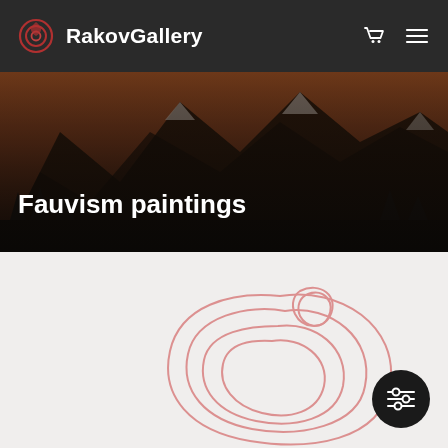RakovGallery
Fauvism paintings
Art gallery → Paintings for sale → Tags → Fauvism
[Figure (illustration): Partial view of a Fauvism painting showing loose, curved brushstroke outlines in reddish-pink on a light background]
[Figure (other): Circular dark filter/settings button with slider icon in bottom-right corner]